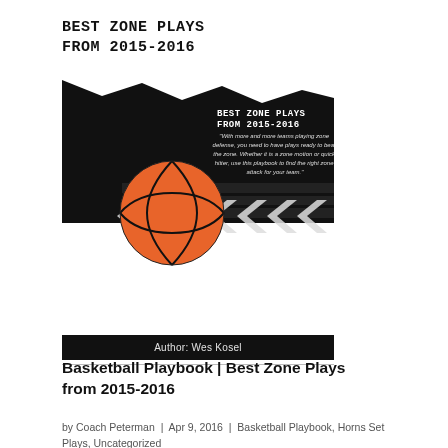BEST ZONE PLAYS
FROM 2015-2016
[Figure (illustration): Basketball playbook book cover with orange basketball, black grunge background, chevron arrows, and italic quote text about zone defense plays]
Author: Wes Kosel
Basketball Playbook | Best Zone Plays from 2015-2016
by Coach Peterman | Apr 9, 2016 | Basketball Playbook, Horns Set Plays, Uncategorized